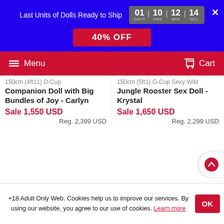Last Units of Dolls Ready to Ship — 01 DAYS | 10 HRS | 12 MIN | 14 SEC
40% OFF
Menu    Cart
150cm (4ft11) D-Cup Companion Doll with Big Bundles of Joy - Carlyn
Sale 1,550 USD
Reg. 2,399 USD
150cm (5ft1) G-Cup Sexy Wild Jungle Rooster Sex Doll - Krystal
Sale 1,650 USD
Reg. 2,299 USD
+18 Adult Only Web. Cookies help us to improve our services. By using our website, you agree to our use of cookies. Learn more